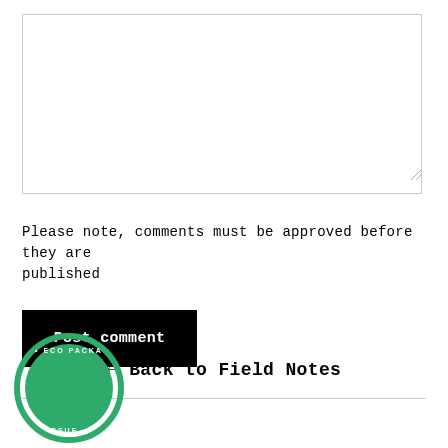[Figure (other): Empty textarea input box with resize handle at bottom right]
Please note, comments must be approved before they are published
Post comment
← Back to Field Notes
[Figure (logo): Circular green eco packaging badge/seal, partially visible at bottom left]